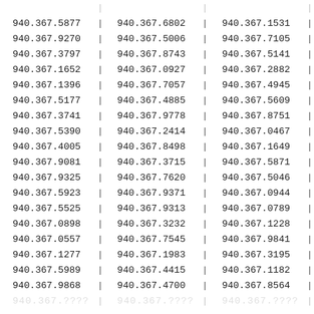| Col1 | Col2 | Col3 |
| --- | --- | --- |
| 940.367.5877 | 940.367.6802 | 940.367.1531 |
| 940.367.9270 | 940.367.5006 | 940.367.7105 |
| 940.367.3797 | 940.367.8743 | 940.367.5141 |
| 940.367.1652 | 940.367.0927 | 940.367.2882 |
| 940.367.1396 | 940.367.7057 | 940.367.4945 |
| 940.367.5177 | 940.367.4885 | 940.367.5609 |
| 940.367.3741 | 940.367.9778 | 940.367.8751 |
| 940.367.5390 | 940.367.2414 | 940.367.0467 |
| 940.367.4005 | 940.367.8498 | 940.367.1649 |
| 940.367.9081 | 940.367.3715 | 940.367.5871 |
| 940.367.9325 | 940.367.7620 | 940.367.5046 |
| 940.367.5923 | 940.367.9371 | 940.367.0944 |
| 940.367.5525 | 940.367.9313 | 940.367.0789 |
| 940.367.0898 | 940.367.3232 | 940.367.1228 |
| 940.367.0557 | 940.367.7545 | 940.367.9841 |
| 940.367.1277 | 940.367.1983 | 940.367.3195 |
| 940.367.5989 | 940.367.4415 | 940.367.1182 |
| 940.367.9868 | 940.367.4700 | 940.367.8564 |
| 940.367.???? | 940.367.???? | 940.367.???? |